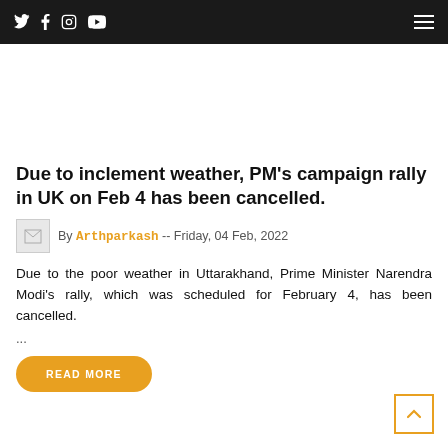Social icons (Twitter, Facebook, Instagram, YouTube) and hamburger menu
[Figure (other): Advertisement placeholder area (blank white space)]
Due to inclement weather, PM's campaign rally in UK on Feb 4 has been cancelled.
By Arthparkash -- Friday, 04 Feb, 2022
Due to the poor weather in Uttarakhand, Prime Minister Narendra Modi's rally, which was scheduled for February 4, has been cancelled.
...
READ MORE